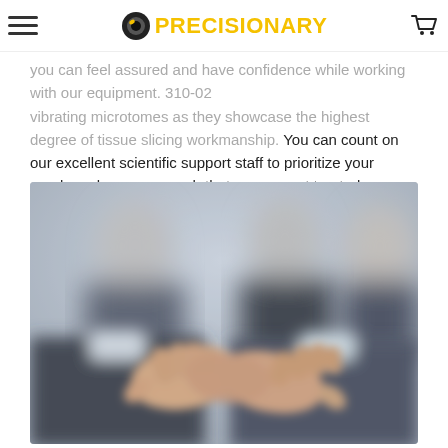PRECISIONARY (logo/navigation bar)
you can feel assured and have confidence while working with our equipment. 310-02 vibrating microtomes as they showcase the highest degree of tissue slicing workmanship. You can count on our excellent scientific support staff to prioritize your needs and concerns such that you are not treated as a number, but rather a valued customer that is part of our family here at Precisionary Instruments.
[Figure (photo): Blurred photo of businesspeople shaking hands in the foreground, with two other people blurred in the background. Indoor professional setting.]